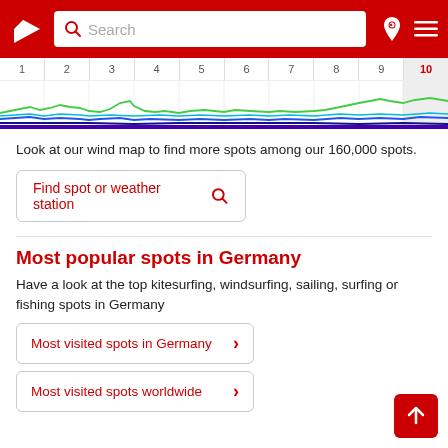Windfinder - Search bar header
[Figure (continuous-plot): Wind forecast chart strip showing days 1-10 with colored wavy lines (green for wind gusts, blue for wind speed, dark blue/purple for wave height). Column 10 is highlighted in grey.]
Look at our wind map to find more spots among our 160,000 spots.
Find spot or weather station
Most popular spots in Germany
Have a look at the top kitesurfing, windsurfing, sailing, surfing or fishing spots in Germany
Most visited spots in Germany
Most visited spots worldwide